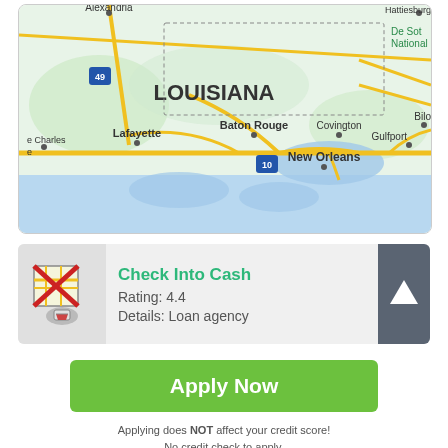[Figure (map): Map showing Louisiana state with cities including Alexandria, Baton Rouge, Covington, Lafayette, New Orleans, Gulfport, and Biloxi. Yellow roads on green terrain with blue water areas. Interstate shields visible including 49 and 10. De Soto National Forest labeled in upper right.]
[Figure (other): Check Into Cash listing card with map icon crossed out in red, showing Rating 4.4, Details: Loan agency, and an upward arrow button on the right.]
Check Into Cash
Rating: 4.4
Details: Loan agency
Apply Now
Applying does NOT affect your credit score!
No credit check to apply.